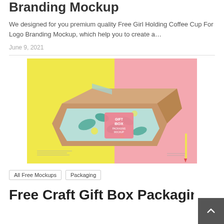Branding Mockup
We designed for you premium quality Free Girl Holding Coffee Cup For Logo Branding Mockup, which help you to create a…
June 9, 2021
[Figure (photo): A craft gift box packaging mockup showing a cardboard box with a decorative teal and yellow floral wrap/band labeled 'Gift Box Packaging Mockup', set against a split yellow and pink background.]
All Free Mockups
Packaging
Free Craft Gift Box Packaging Mock…